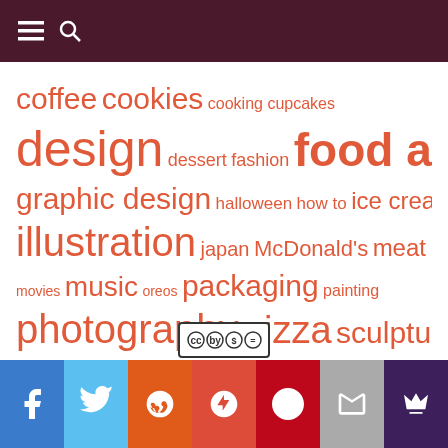☰ 🔍
coffee cookies cooking cupcakes design dessert fashion food art graphic design halloween how to ice cream illustration japan McDonald's meat movies music oreos packaging painting photography pizza sculpture shop star wars sushi video wine wtf youtube
[Figure (logo): Creative Commons license icons: CC BY-NC-ND]
Social sharing bar: Facebook, Twitter, Reddit, Google+, Pinterest, Email, Crown